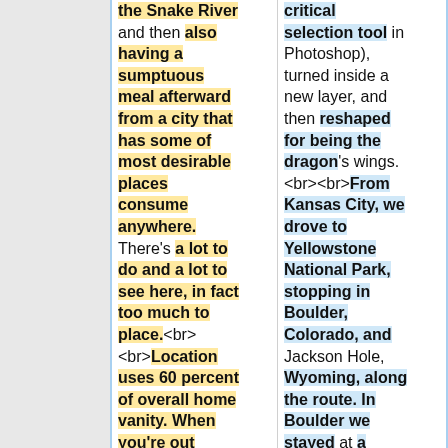the Snake River and then also having a sumptuous meal afterward from a city that has some of most desirable places consume anywhere. There's a lot to do and a lot to see here, in fact too much to place.<br><br>Location uses 60 percent of overall home vanity. When you're out shopping for Jackson Hole
critical selection tool in Photoshop), turned inside a new layer, and then reshaped for being the dragon's wings. <br><br>From Kansas City, we drove to Yellowstone National Park, stopping in Boulder, Colorado, and Jackson Hole, Wyoming, along the route. In Boulder we stayed at a charming Victorian bed